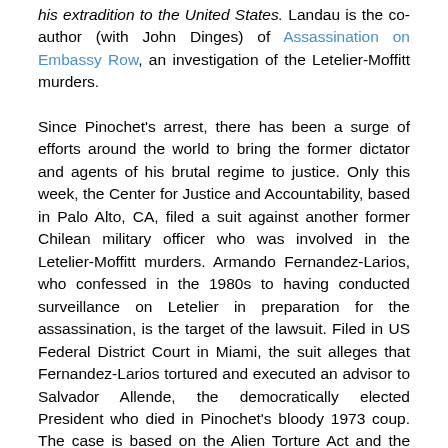his extradition to the United States. Landau is the co-author (with John Dinges) of Assassination on Embassy Row, an investigation of the Letelier-Moffitt murders.
Since Pinochet's arrest, there has been a surge of efforts around the world to bring the former dictator and agents of his brutal regime to justice. Only this week, the Center for Justice and Accountability, based in Palo Alto, CA, filed a suit against another former Chilean military officer who was involved in the Letelier-Moffitt murders. Armando Fernandez-Larios, who confessed in the 1980s to having conducted surveillance on Letelier in preparation for the assassination, is the target of the lawsuit. Filed in US Federal District Court in Miami, the suit alleges that Fernandez-Larios tortured and executed an advisor to Salvador Allende, the democratically elected President who died in Pinochet's bloody 1973 coup. The case is based on the Alien Torture Act and the Torture Victim Protection Act, which provides jurisdiction